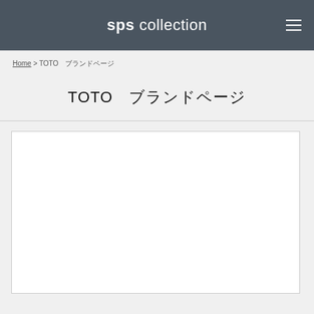sps collection
Home > TOTO　ブランドページ
TOTO　ブランドページ
[Figure (other): White content area box, empty]